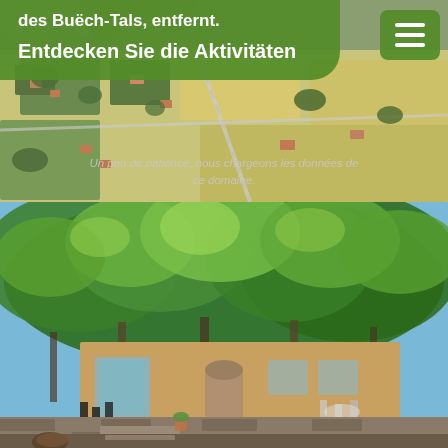[Figure (photo): Aerial view of a rural valley with fields, roads, and scattered houses in the Buëch valley region of France]
des Buëch-Tals, entfernt.
Entdecken Sie die Aktivitäten
Un peu de patience, nous chargeons les données de ce domaine.
[Figure (photo): Ground-level photo of a country house with large trees in front, a terrace with chairs and tables, and a stone wall in the foreground]